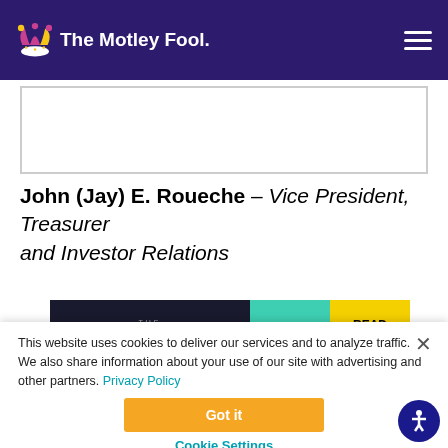The Motley Fool
John (Jay) E. Roueche – Vice President, Treasurer and Investor Relations
[Figure (screenshot): The Perspective advertisement banner with teal and yellow blocks and READ MORE text]
This website uses cookies to deliver our services and to analyze traffic. We also share information about your use of our site with advertising and other partners. Privacy Policy
Got it
Cookie Settings